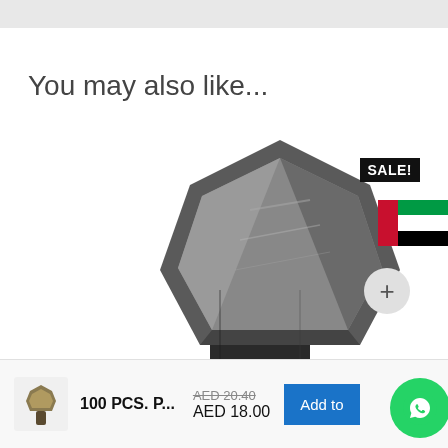You may also like...
[Figure (photo): Close-up photo of a large hex bolt head (galvanized/steel) viewed from above at an angle, showing the hexagonal shape and metallic surface.]
SALE!
[Figure (illustration): UAE flag icon]
[Figure (photo): Small thumbnail image of a bolt/screw product]
100 PCS. P...
AED 20.40
AED 18.00
Add to